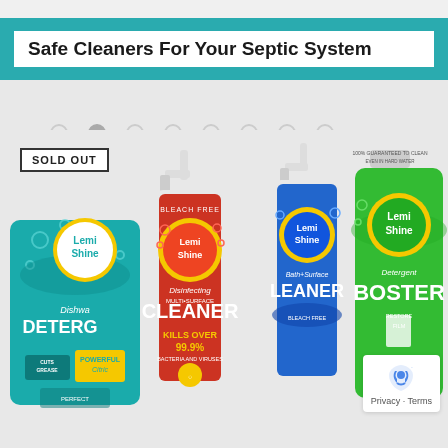Safe Cleaners For Your Septic System
[Figure (photo): Four Lemi Shine cleaning products displayed together: a teal Dishwasher Detergent pouch, a red Disinfecting Multi-Surface Cleaner spray bottle, a blue Bath+Surface Cleaner spray bottle, and a green Detergent Booster bottle. A 'SOLD OUT' badge is visible in the upper left.]
SOLD OUT
Privacy · Terms